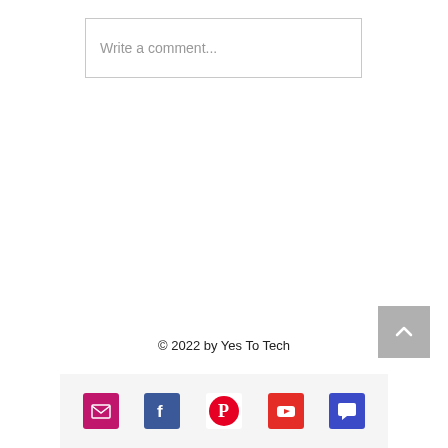Write a comment...
[Figure (other): Back to top button with upward chevron arrow on grey square background]
© 2022 by Yes To Tech
[Figure (other): Social media icon bar with email, Facebook, Pinterest, YouTube, and chat/comment icons on light grey background]